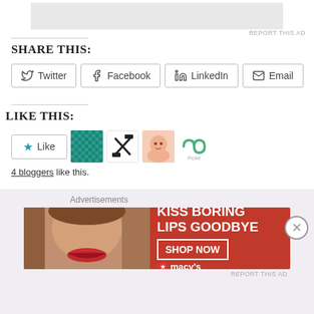[Figure (other): Advertisement banner at top (gray rectangle)]
REPORT THIS AD
SHARE THIS:
Twitter
Facebook
LinkedIn
Email
LIKE THIS:
[Figure (other): Like button with star icon, followed by 4 blogger avatar thumbnails]
4 bloggers like this.
[Figure (other): Macy's advertisement banner: KISS BORING LIPS GOODBYE - SHOP NOW - macy's]
Advertisements
REPORT THIS AD